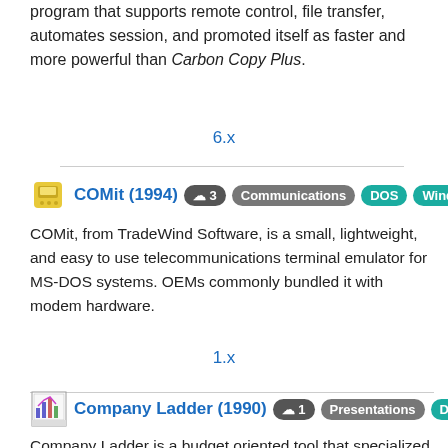program that supports remote control, file transfer, automates session, and promoted itself as faster and more powerful than Carbon Copy Plus.
6.x
COMit (1994) ⬇3 Communications DOS Windows
COMit, from TradeWind Software, is a small, lightweight, and easy to use telecommunications terminal emulator for MS-DOS systems. OEMs commonly bundled it with modem hardware.
1.x
Company Ladder (1990) ⬇1 Presentations DOS
Company Ladder is a budget oriented tool that specialized in making corporate organizational charts. It could handle large numbers of entries and